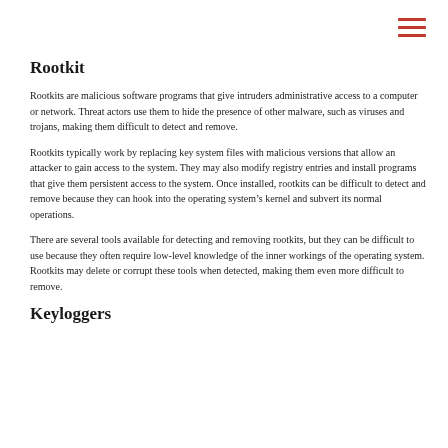Rootkit
Rootkits are malicious software programs that give intruders administrative access to a computer or network. Threat actors use them to hide the presence of other malware, such as viruses and trojans, making them difficult to detect and remove.
Rootkits typically work by replacing key system files with malicious versions that allow an attacker to gain access to the system. They may also modify registry entries and install programs that give them persistent access to the system. Once installed, rootkits can be difficult to detect and remove because they can hook into the operating system’s kernel and subvert its normal operations.
There are several tools available for detecting and removing rootkits, but they can be difficult to use because they often require low-level knowledge of the inner workings of the operating system. Rootkits may delete or corrupt these tools when detected, making them even more difficult to remove.
Keyloggers